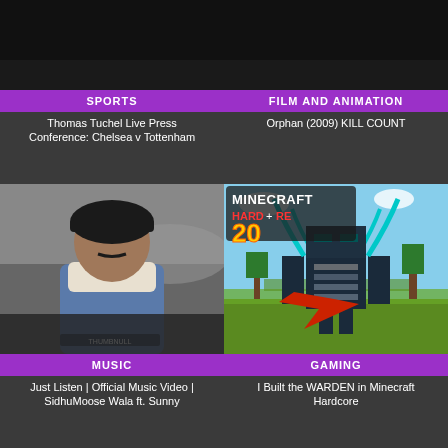[Figure (screenshot): Sports video thumbnail - dark background]
SPORTS
Thomas Tuchel Live Press Conference: Chelsea v Tottenham
[Figure (screenshot): Film and Animation video thumbnail - dark background]
FILM AND ANIMATION
Orphan (2009) KILL COUNT
[Figure (photo): Music video thumbnail - man in turban and denim jacket]
MUSIC
Just Listen | Official Music Video | SidhuMoose Wala ft. Sunny
[Figure (screenshot): Gaming thumbnail - Minecraft Hardcore 20, Warden character built in Minecraft]
GAMING
I Built the WARDEN in Minecraft Hardcore